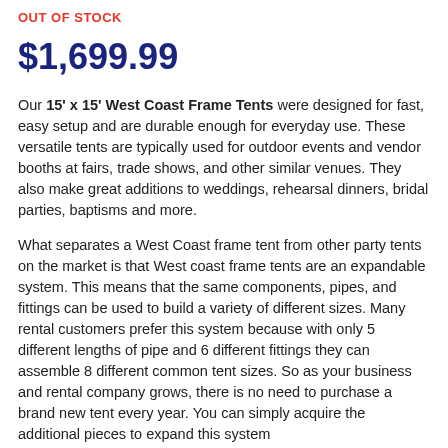OUT OF STOCK
$1,699.99
Our 15' x 15' West Coast Frame Tents were designed for fast, easy setup and are durable enough for everyday use. These versatile tents are typically used for outdoor events and vendor booths at fairs, trade shows, and other similar venues. They also make great additions to weddings, rehearsal dinners, bridal parties, baptisms and more.
What separates a West Coast frame tent from other party tents on the market is that West coast frame tents are an expandable system. This means that the same components, pipes, and fittings can be used to build a variety of different sizes. Many rental customers prefer this system because with only 5 different lengths of pipe and 6 different fittings they can assemble 8 different common tent sizes. So as your business and rental company grows, there is no need to purchase a brand new tent every year. You can simply acquire the additional pieces to expand this system